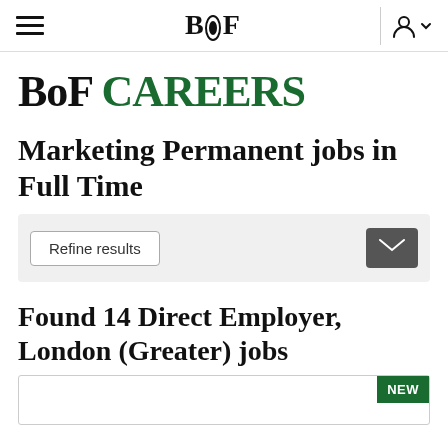BoF
BoF CAREERS
Marketing Permanent jobs in Full Time
Refine results
Found 14 Direct Employer, London (Greater) jobs
NEW